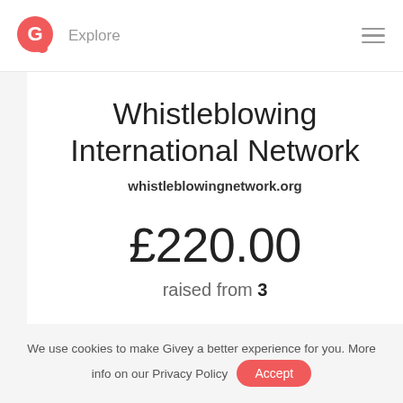Explore
Whistleblowing International Network
whistleblowingnetwork.org
£220.00
raised from 3
We use cookies to make Givey a better experience for you. More info on our Privacy Policy  Accept